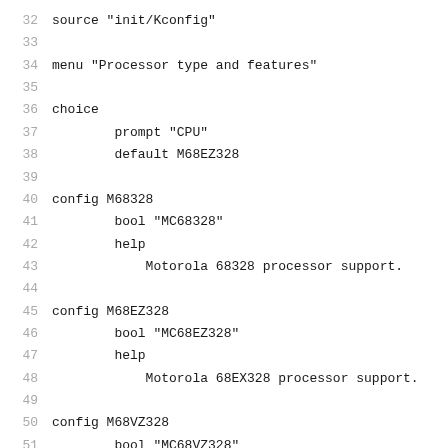32  source "init/Kconfig"
33
34  menu "Processor type and features"
35
36  choice
37        prompt "CPU"
38        default M68EZ328
39
40  config M68328
41        bool "MC68328"
42        help
43            Motorola 68328 processor support.
44
45  config M68EZ328
46        bool "MC68EZ328"
47        help
48            Motorola 68EX328 processor support.
49
50  config M68VZ328
51        bool "MC68VZ328"
52        help